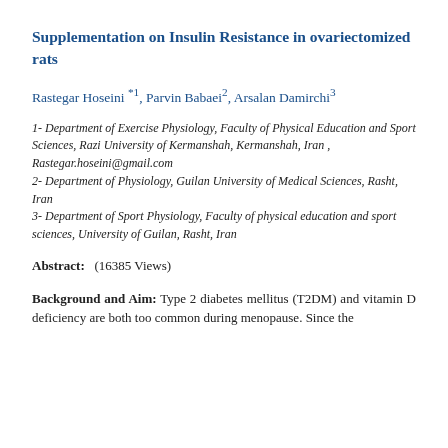Supplementation on Insulin Resistance in ovariectomized rats
Rastegar Hoseini *1, Parvin Babaei2, Arsalan Damirchi3
1- Department of Exercise Physiology, Faculty of Physical Education and Sport Sciences, Razi University of Kermanshah, Kermanshah, Iran , Rastegar.hoseini@gmail.com
2- Department of Physiology, Guilan University of Medical Sciences, Rasht, Iran
3- Department of Sport Physiology, Faculty of physical education and sport sciences, University of Guilan, Rasht, Iran
Abstract:   (16385 Views)
Background and Aim: Type 2 diabetes mellitus (T2DM) and vitamin D deficiency are both too common during menopause. Since the